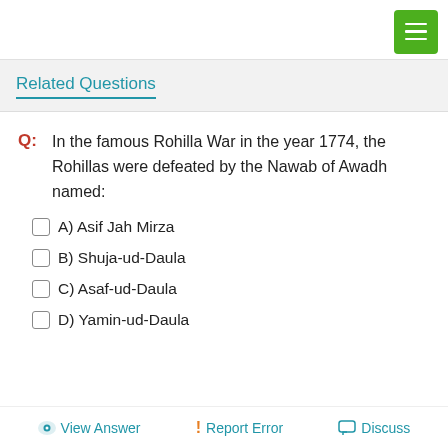Related Questions
Q: In the famous Rohilla War in the year 1774, the Rohillas were defeated by the Nawab of Awadh named:
A) Asif Jah Mirza
B) Shuja-ud-Daula
C) Asaf-ud-Daula
D) Yamin-ud-Daula
View Answer   ! Report Error   Discuss